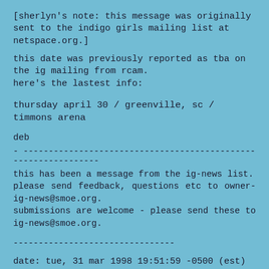[sherlyn's note: this message was originally sent to the indigo girls mailing list at netspace.org.]
this date was previously reported as tba on the ig mailing from rcam.
here's the lastest info:
thursday april 30 / greenville, sc / timmons arena
deb
- ---------------------------------------------------------------
this has been a message from the ig-news list.
please send feedback, questions etc to owner-ig-news@smoe.org.
submissions are welcome - please send these to ig-news@smoe.org.
--------------------------------
date: tue, 31 mar 1998 19:51:59 -0500 (est)